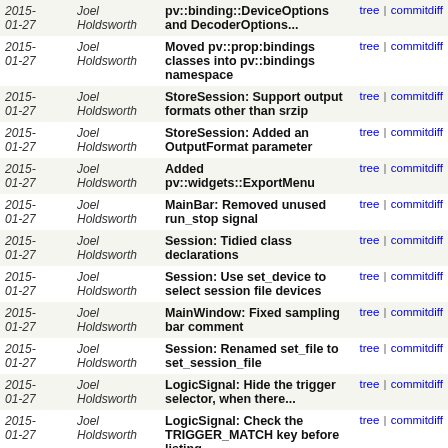| Date | Author | Commit message | Links |
| --- | --- | --- | --- |
| 2015-01-27 | Joel Holdsworth | pv::binding::DeviceOptions and DecoderOptions... | tree | commitdiff |
| 2015-01-27 | Joel Holdsworth | Moved pv::prop:bindings classes into pv::bindings namespace | tree | commitdiff |
| 2015-01-27 | Joel Holdsworth | StoreSession: Support output formats other than srzip | tree | commitdiff |
| 2015-01-27 | Joel Holdsworth | StoreSession: Added an OutputFormat parameter | tree | commitdiff |
| 2015-01-27 | Joel Holdsworth | Added pv::widgets::ExportMenu | tree | commitdiff |
| 2015-01-27 | Joel Holdsworth | MainBar: Removed unused run_stop signal | tree | commitdiff |
| 2015-01-27 | Joel Holdsworth | Session: Tidied class declarations | tree | commitdiff |
| 2015-01-27 | Joel Holdsworth | Session: Use set_device to select session file devices | tree | commitdiff |
| 2015-01-27 | Joel Holdsworth | MainWindow: Fixed sampling bar comment | tree | commitdiff |
| 2015-01-27 | Joel Holdsworth | Session: Renamed set_file to set_session_file | tree | commitdiff |
| 2015-01-27 | Joel Holdsworth | LogicSignal: Hide the trigger selector, when there... | tree | commitdiff |
| 2015-01-27 | Joel Holdsworth | LogicSignal: Check the TRIGGER_MATCH key before listing | tree | commitdiff |
| 2015-01-27 | Joel Holdsworth | MainBar: Don't list keys twice | tree | commitdiff |